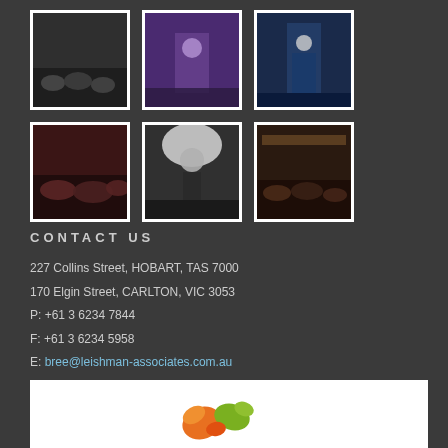[Figure (photo): Grid of 6 event/conference photos arranged in 2 rows of 3]
CONTACT US
227 Collins Street, HOBART, TAS 7000
170 Elgin Street, CARLTON, VIC 3053
P: +61 3 6234 7844
F: +61 3 6234 5958
E: bree@leishman-associates.com.au
W: leishman-associates.com.au
[Figure (logo): Leishman Associates logo with colourful bird/leaf graphic on white background]